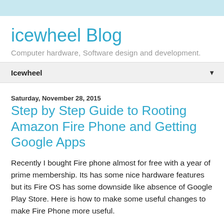icewheel Blog
Computer hardware, Software design and development.
Icewheel
Saturday, November 28, 2015
Step by Step Guide to Rooting Amazon Fire Phone and Getting Google Apps
Recently I bought Fire phone almost for free with a year of prime membership. Its has some nice hardware features but its Fire OS has some downside like absence of Google Play Store. Here is how to make some useful changes to make Fire Phone more useful.